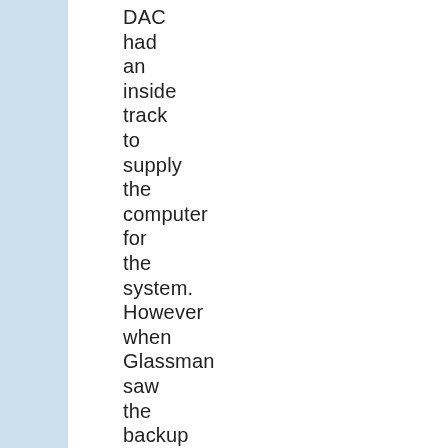DAC had an inside track to supply the computer for the system. However when Glassman saw the backup for the pricing he was